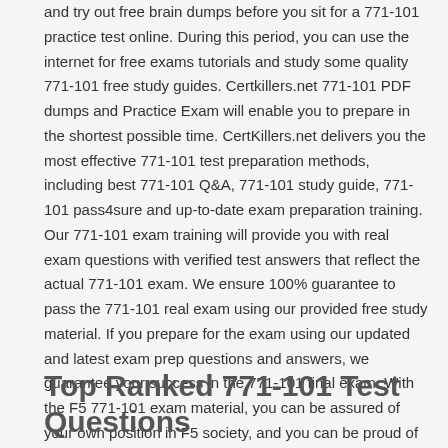and try out free brain dumps before you sit for a 771-101 practice test online. During this period, you can use the internet for free exams tutorials and study some quality 771-101 free study guides. Certkillers.net 771-101 PDF dumps and Practice Exam will enable you to prepare in the shortest possible time. CertKillers.net delivers you the most effective 771-101 test preparation methods, including best 771-101 Q&A, 771-101 study guide, 771-101 pass4sure and up-to-date exam preparation training. Our 771-101 exam training will provide you with real exam questions with verified test answers that reflect the actual 771-101 exam. We ensure 100% guarantee to pass the 771-101 real exam using our provided free study material. If you prepare for the exam using our updated and latest exam prep questions and answers, we guarantee your success in the 771-101 final exam. With the F5 771-101 exam material, you can be assured of your own position in F5 society, and you can be proud of your success in the highly competitive IT field.
Top Ranked 771-101 Test Questions